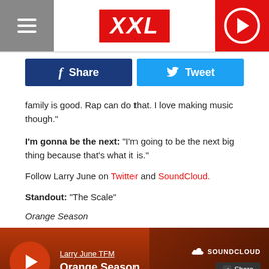XXL
Share | Tweet
family is good. Rap can do that. I love making music though."
I'm gonna be the next: "I'm going to be the next big thing because that's what it is."
Follow Larry June on Twitter and SoundCloud.
Standout: "The Scale"
Orange Season
[Figure (screenshot): SoundCloud embed player showing Larry June TFM - Orange Season with play button, share button, and SoundCloud logo on a dark red/brown background]